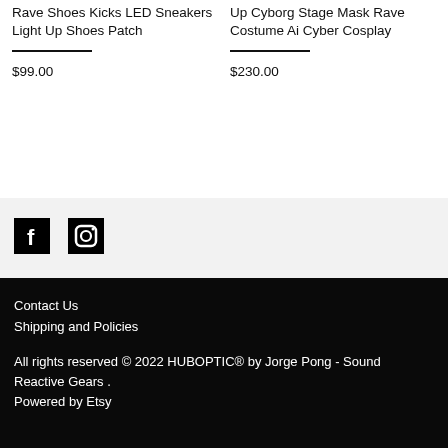Rave Shoes Kicks LED Sneakers Light Up Shoes Patch
$99.00
Up Cyborg Stage Mask Rave Costume Ai Cyber Cosplay
$230.00
[Figure (logo): Facebook and Instagram social media icons (black square icons with white Facebook 'f' and Instagram camera symbols)]
Contact Us
Shipping and Policies
All rights reserved © 2022 HUBOPTIC® by Jorge Pong - Sound Reactive Gears .
Powered by Etsy